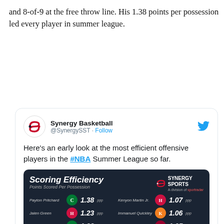and 8-of-9 at the free throw line. His 1.38 points per possession led every player in summer league.
[Figure (screenshot): Embedded tweet from @SynergySST (Synergy Basketball) showing a Scoring Efficiency infographic. Tweet text: 'Here's an early look at the most efficient offensive players in the #NBA Summer League so far.' The infographic lists players with Points Per Possession (ppp) values: Payton Pritchard 1.38, Jalen Green 1.23, Aaron Nesmith 1.22, Marcus Garrett 1.19, Bol Bol 1.12, Kenyon Martin Jr. 1.07, Immanuel Quickley 1.06, Max Strus 1.05, Alperen Sengun 1.03, Desmond Bane 1.02.]